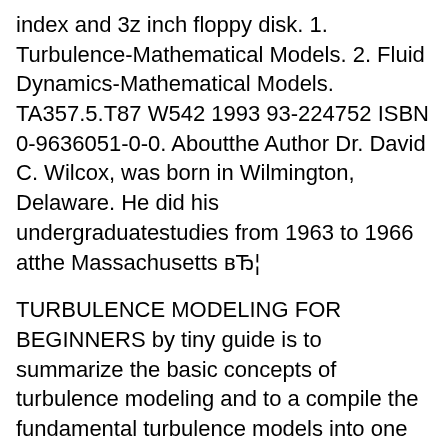index and 3z inch floppy disk. 1. Turbulence-Mathematical Models. 2. Fluid Dynamics-Mathematical Models. TA357.5.T87 W542 1993 93-224752 ISBN 0-9636051-0-0. Aboutthe Author Dr. David C. Wilcox, was born in Wilmington, Delaware. He did his undergraduatestudies from 1963 to 1966 atthe Massachusetts вЂ¦
TURBULENCE MODELING FOR BEGINNERS by tiny guide is to summarize the basic concepts of turbulence modeling and to a compile the fundamental turbulence models into one simple framework. Intended for the beginner, no derivations are included, unless in some The k Turbulence Model